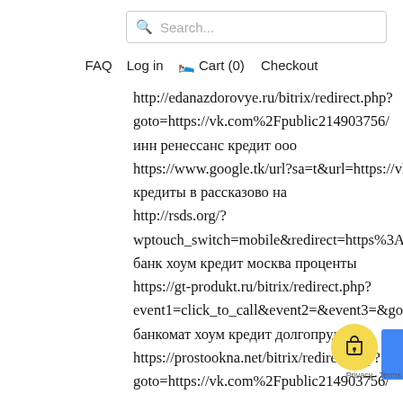Search...
FAQ   Log in   Cart (0)   Checkout
http://edanazdorovye.ru/bitrix/redirect.php?
goto=https://vk.com%2Fpublic214903756/
инн ренессанс кредит ооо
https://www.google.tk/url?sa=t&url=https://vk.com/
кредиты в рассказово на
http://rsds.org/?
wptouch_switch=mobile&redirect=https%3A%2F%2Fvk
банк хоум кредит москва проценты
https://gt-produkt.ru/bitrix/redirect.php?
event1=click_to_call&event2=&event3=&goto=https:/
банкомат хоум кредит долгопрудный
https://prostookna.net/bitrix/redirect.php?
goto=https://vk.com%2Fpublic214903756/